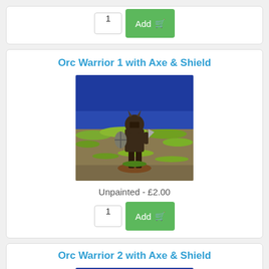1  Add
Orc Warrior 1 with Axe & Shield
[Figure (photo): Painted orc warrior miniature with axe and shield, standing on a scenic base with yellow-green foliage and grey dirt terrain, blue sky background]
Unpainted - £2.00
1  Add
Orc Warrior 2 with Axe & Shield
[Figure (photo): Partial view of another orc warrior miniature, similar scenic base, blue sky background]